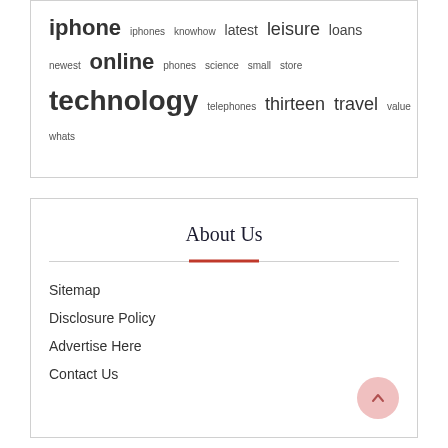[Figure (other): Tag cloud containing words: iphone (large), iphones (small), knowhow (small), latest (medium), leisure (large), loans (medium), newest (small), online (large), phones (small), science (small), small (small), store (small), technology (very large), telephones (small), thirteen (large), travel (large), value (small), whats (small)]
About Us
Sitemap
Disclosure Policy
Advertise Here
Contact Us